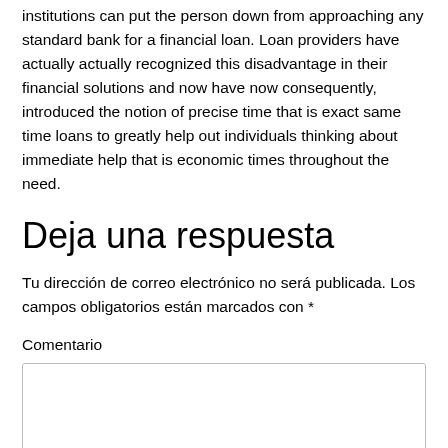institutions can put the person down from approaching any standard bank for a financial loan. Loan providers have actually actually recognized this disadvantage in their financial solutions and now have now consequently, introduced the notion of precise time that is exact same time loans to greatly help out individuals thinking about immediate help that is economic times throughout the need.
Deja una respuesta
Tu dirección de correo electrónico no será publicada. Los campos obligatorios están marcados con *
Comentario